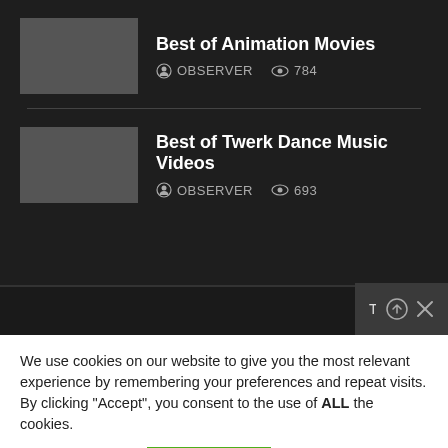Best of Animation Movies | OBSERVER | 784 views
Best of Twerk Dance Music Videos | OBSERVER | 693 views
THOR 4: Love and Thunder ...
We use cookies on our website to give you the most relevant experience by remembering your preferences and repeat visits. By clicking “Accept”, you consent to the use of ALL the cookies.
Cookie settings
ACCEPT